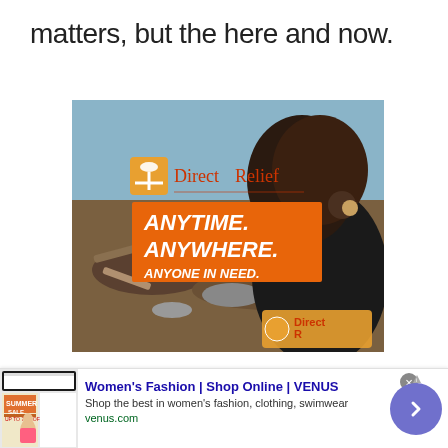matters, but the here and now.
[Figure (photo): DirectRelief charity advertisement showing a person wearing a DirectRelief shirt standing amid disaster debris. Orange banner reads: ANYTIME. ANYWHERE. ANYONE IN NEED. DirectRelief logo visible.]
[Figure (infographic): Banner advertisement for Women's Fashion | Shop Online | VENUS. Shows a Summer Sale image. Text: Shop the best in women's fashion, clothing, swimwear. URL: venus.com]